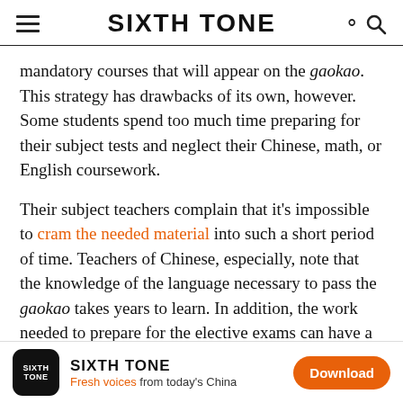SIXTH TONE
mandatory courses that will appear on the gaokao. This strategy has drawbacks of its own, however. Some students spend too much time preparing for their subject tests and neglect their Chinese, math, or English coursework.
Their subject teachers complain that it’s impossible to cram the needed material into such a short period of time. Teachers of Chinese, especially, note that the knowledge of the language necessary to pass the gaokao takes years to learn. In addition, the work needed to prepare for the elective exams can have a negative impact on the ability of these teachers to plan their own curricula.
Furthermore, the use of weighted scores has caused
SIXTH TONE – Fresh voices from today’s China – Download